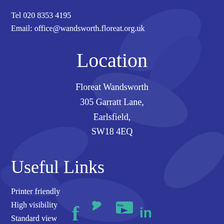Tel 020 8353 4195
Email: office@wandsworth.floreat.org.uk
Location
Floreat Wandsworth
305 Garratt Lane,
Earlsfield,
SW18 4EQ
Useful Links
Printer friendly
High visibility
Standard view
Sitemap
[Figure (illustration): Social media icons: Facebook, Twitter, YouTube, LinkedIn in teal colour at bottom of page]